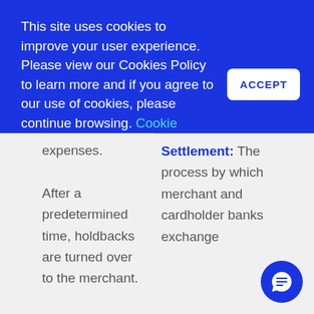This site uses cookies to improve your user experience. Please view our Cookies Policy to learn more and if you agree to our use of cookies, please continue browsing. Cookie Policy
expenses. After a predetermined time, holdbacks are turned over to the merchant. Note:
Settlement: The process by which merchant and cardholder banks exchange